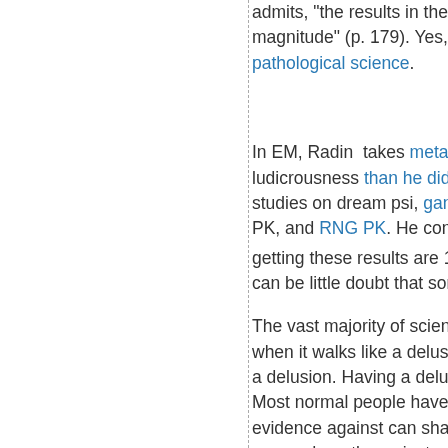admits, "the results in these magnitude" (p. 179). Yes, and pathological science.
In EM, Radin takes meta-an ludicrousness than he did in studies on dream psi, ganzfe PK, and RNG PK. He conclu getting these results are 10^1 can be little doubt that somet
The vast majority of scientists when it walks like a delusion a delusion. Having a delusion. Most normal people have de evidence against can shake, preponderantly against.
I have no idea why Radin do question with his method of a anomaly or a blip on screen